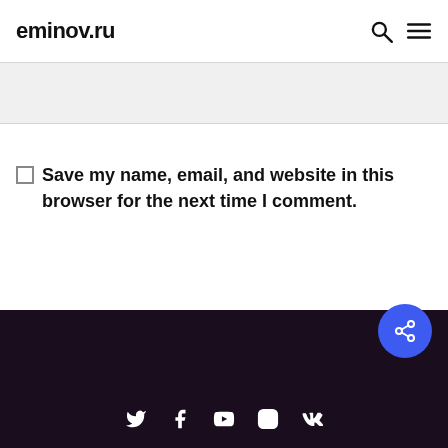eminov.ru
Save my name, email, and website in this browser for the next time I comment.
Submit Comment
Social icons: Twitter, Facebook, YouTube, Instagram, VK